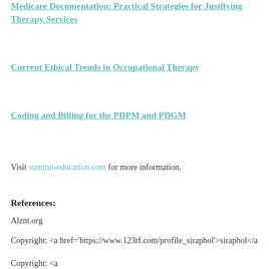Medicare Documentation: Practical Strategies for Justifying Therapy Services
Current Ethical Trends in Occupational Therapy
Coding and Billing for the PDPM and PDGM
Visit summit-education.com for more information.
References:
Alznt.org
Copyright: <a href='https://www.123rf.com/profile_siraphol'>siraphol</a>
Copyright: <a